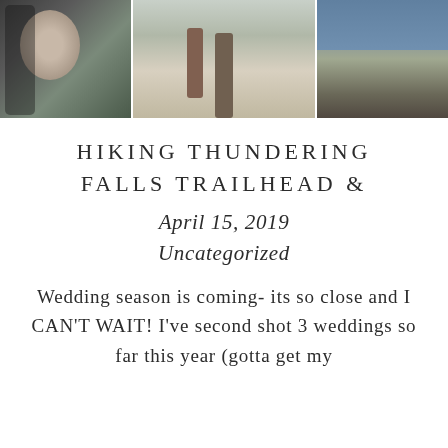[Figure (photo): Three outdoor/winter photos side by side: left shows two people together in snowy woods, center shows a person standing on a snowy trail among trees, right shows a mountain landscape with bare trees and hills]
HIKING THUNDERING FALLS TRAILHEAD &
April 15, 2019
Uncategorized
Wedding season is coming- its so close and I CAN'T WAIT! I've second shot 3 weddings so far this year (gotta get my